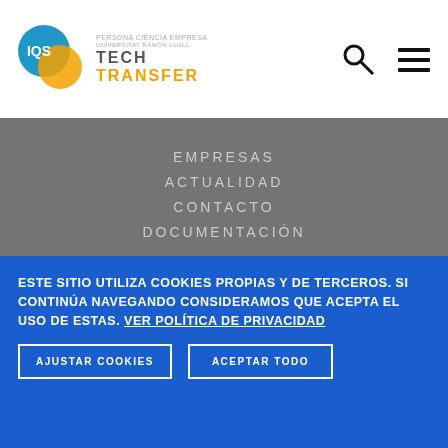[Figure (logo): IQS Tech Transfer logo with colorful circle and orange TECH TRANSFER text]
EMPRESAS
ACTUALIDAD
CONTACTO
DOCUMENTACIÓN
[Figure (logo): ENAC - Entidad Nacional de Acreditación logo]
[Figure (logo): RN certification mark logo]
[Figure (logo): Generalitat de Catalunya logo]
ESTE SITIO UTILIZA COOKIES PROPIAS Y DE TERCEROS. SI CONTINÚA NAVEGANDO CONSIDERAMOS QUE ACEPTA EL USO DE ESTAS. VER POLÍTICA DE PRIVACIDAD
AJUSTAR COOKIES
ACEPTAR TODO